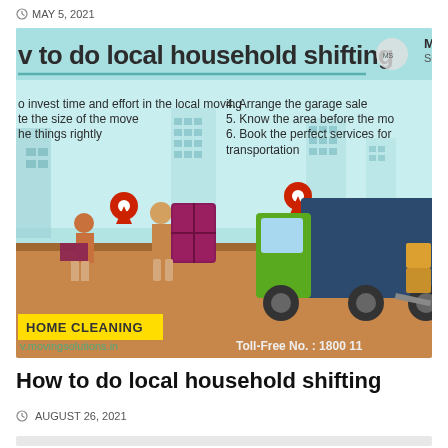MAY 5, 2021
[Figure (infographic): Infographic titled 'How to do local household shifting' on a teal/light-blue background showing animated movers carrying furniture and boxes, a green moving truck, location pin icons, cityscape silhouette, text listing tips (1. invest time and effort in local moving, 2. size of the move, 3. things rightly, 4. Arrange the garage sale, 5. Know the area before the move, 6. Book the perfect services for transportation), HOME CLEANING category label in yellow, movingsolutions.in watermark, and Toll-Free No.: 1800 11]
How to do local household shifting
AUGUST 26, 2021